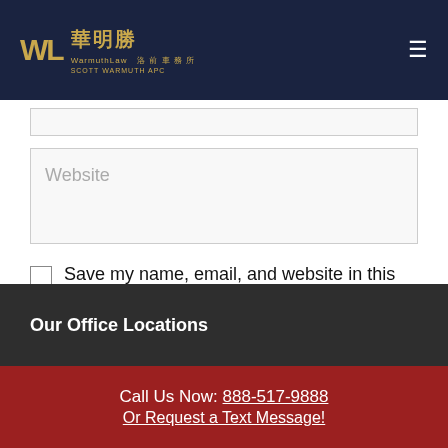[Figure (logo): WarmuthLaw logo with Chinese characters 華明勝 and subtitle text on dark navy background]
Website
Save my name, email, and website in this browser for the next time I comment.
Post Comment
Our Office Locations
Call Us Now: 888-517-9888 Or Request a Text Message!